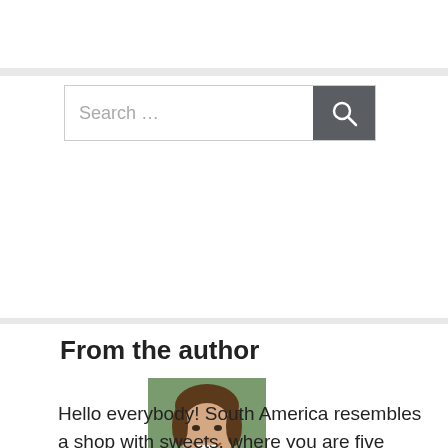[Figure (other): Search bar with text input field reading 'Search ...' and a dark grey search button with magnifying glass icon]
From the author
[Figure (photo): Headshot photo of a young man with brown hair, smiling, wearing a dark shirt, outdoors with blurred background]
Hello everybody! South America resembles a shop with sweets, where you are five again, your eyes run wide treacherously and you